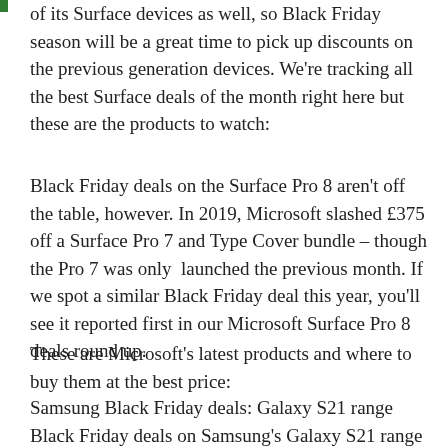of its Surface devices as well, so Black Friday season will be a great time to pick up discounts on the previous generation devices. We're tracking all the best Surface deals of the month right here but these are the products to watch:
Black Friday deals on the Surface Pro 8 aren't off the table, however. In 2019, Microsoft slashed £375 off a Surface Pro 7 and Type Cover bundle – though the Pro 7 was only  launched the previous month. If we spot a similar Black Friday deal this year, you'll see it reported first in our Microsoft Surface Pro 8 deals round up.
These are Microsoft's latest products and where to buy them at the best price:
Samsung Black Friday deals: Galaxy S21 range
Black Friday deals on Samsung's Galaxy S21 range are